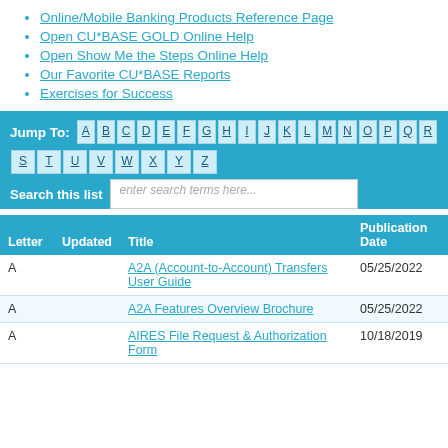Online/Mobile Banking Products Reference Page
Open CU*BASE GOLD Online Help
Open Show Me the Steps Online Help
Our Favorite CU*BASE Reports
Exercises for Success
[Figure (infographic): Jump To alphabet navigation bar with letters A-Z as clickable buttons on blue background, a Search this list input field, and a table header row with columns: Letter, Updated, Title, Publication Date]
| Letter | Updated | Title | Publication Date |
| --- | --- | --- | --- |
| A |  | A2A (Account-to-Account) Transfers User Guide | 05/25/2022 |
| A |  | A2A Features Overview Brochure | 05/25/2022 |
| A |  | AIRES File Request & Authorization Form | 10/18/2019 |